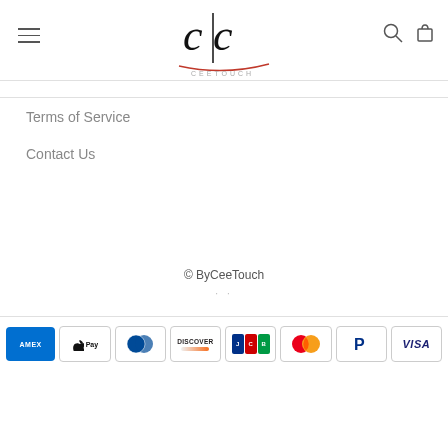CeeTouch logo with hamburger menu and search/cart icons
Terms of Service
Contact Us
© ByCeeTouch
[Figure (other): Payment method icons: Amex, Apple Pay, Diners Club, Discover, JCB, Mastercard, PayPal, Visa]